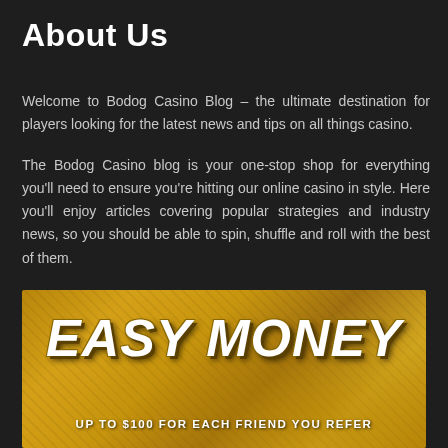About Us
Welcome to Bodog Casino Blog – the ultimate destination for players looking for the latest news and tips on all things casino.
The Bodog Casino blog is your one-stop shop for everything you'll need to ensure you're hitting our online casino in style. Here you'll enjoy articles covering popular strategies and industry news, so you should be able to spin, shuffle and roll with the best of them.
[Figure (illustration): Golden advertisement banner with text 'EASY MONEY' in large italic white letters on a shimmering gold background texture, and subtitle 'UP TO $100 FOR EACH FRIEND YOU REFER']